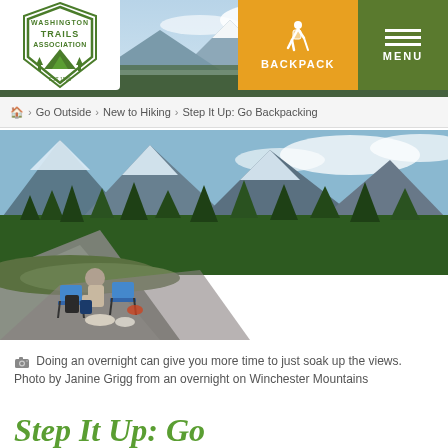[Figure (screenshot): Website header showing Washington Trails Association logo on the left, a hiker/backpack navigation button in orange/yellow center, and a green MENU button on the right]
[Figure (photo): Mountain landscape panorama with snow-capped peaks and cloudy sky, serving as hero image behind the navigation bar]
Home > Go Outside > New to Hiking > Step It Up: Go Backpacking
[Figure (photo): A person wearing a hat sits on a rocky cliff edge with two blue camp chairs, looking out over forested mountain valleys with dramatic peaks in the background. Photo taken during an overnight on Winchester Mountains by Janine Grigg.]
Doing an overnight can give you more time to just soak up the views. Photo by Janine Grigg from an overnight on Winchester Mountains
Step It Up: Go